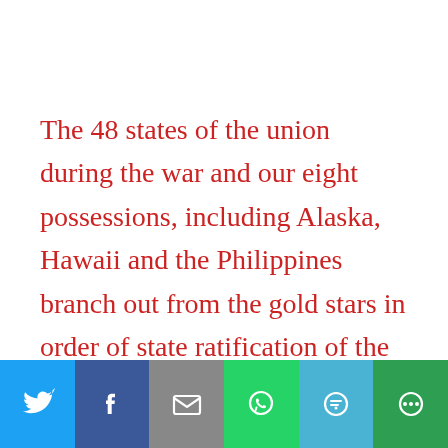The 48 states of the union during the war and our eight possessions, including Alaska, Hawaii and the Philippines branch out from the gold stars in order of state ratification of the Constitution, and admittance as a state or acquisition as a possession. Each column has a hollow center
[Figure (infographic): Social sharing bar with icons for Twitter, Facebook, Email, WhatsApp, SMS, and More]